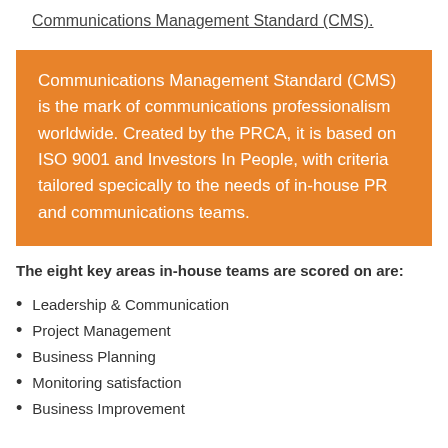Communications Management Standard (CMS).
Communications Management Standard (CMS) is the mark of communications professionalism worldwide. Created by the PRCA, it is based on ISO 9001 and Investors In People, with criteria tailored specically to the needs of in-house PR and communications teams.
The eight key areas in-house teams are scored on are:
Leadership & Communication
Project Management
Business Planning
Monitoring satisfaction
Business Improvement